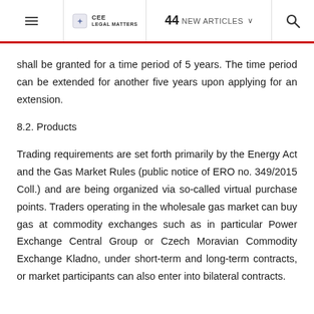≡  CEE LEGAL MATTERS  44 NEW ARTICLES  🔍
shall be granted for a time period of 5 years. The time period can be extended for another five years upon applying for an extension.
8.2. Products
Trading requirements are set forth primarily by the Energy Act and the Gas Market Rules (public notice of ERO no. 349/2015 Coll.) and are being organized via so-called virtual purchase points. Traders operating in the wholesale gas market can buy gas at commodity exchanges such as in particular Power Exchange Central Group or Czech Moravian Commodity Exchange Kladno, under short-term and long-term contracts, or market participants can also enter into bilateral contracts.